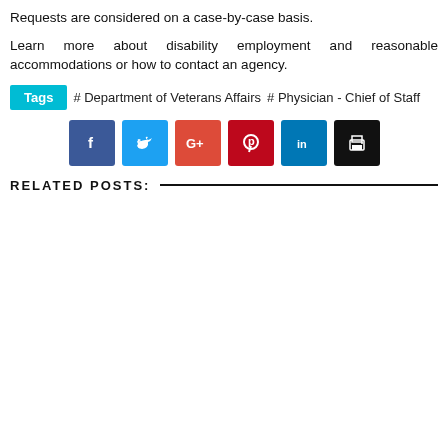Requests are considered on a case-by-case basis.
Learn more about disability employment and reasonable accommodations or how to contact an agency.
Tags  # Department of Veterans Affairs  # Physician - Chief of Staff
[Figure (other): Social media sharing buttons: Facebook, Twitter, Google+, Pinterest, LinkedIn, Print]
RELATED POSTS: